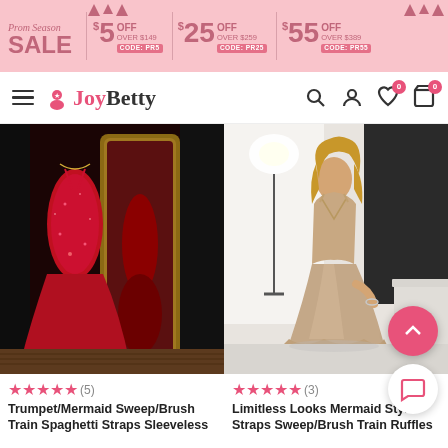[Figure (screenshot): E-commerce website screenshot for JoyBetty dress store showing a promotional banner, navigation bar, and two product listings for prom dresses.]
Prom Season SALE $5 OFF OVER $149 CODE: PR5 | $25 OFF OVER $259 CODE: PR25 | $55 OFF OVER $389 CODE: PR55
[Figure (photo): Red sequin mermaid dress with spaghetti straps, full-length, shown on a mannequin in front of a gold ornate mirror]
[Figure (photo): Champagne/rose gold satin mermaid dress with spaghetti straps worn by a woman in a studio setting]
★★★★★ (5)
Trumpet/Mermaid Sweep/Brush Train Spaghetti Straps Sleeveless
★★★★★ (3)
Limitless Looks Mermaid Style Straps Sweep/Brush Train Ruffles